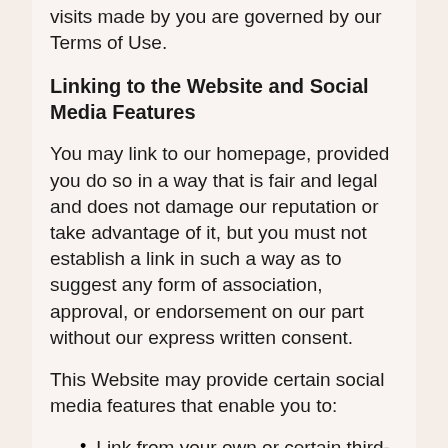visits made by you are governed by our Terms of Use.
Linking to the Website and Social Media Features
You may link to our homepage, provided you do so in a way that is fair and legal and does not damage our reputation or take advantage of it, but you must not establish a link in such a way as to suggest any form of association, approval, or endorsement on our part without our express written consent.
This Website may provide certain social media features that enable you to:
Link from your own or certain third-party websites to certain content on this Website.
Send emails or other